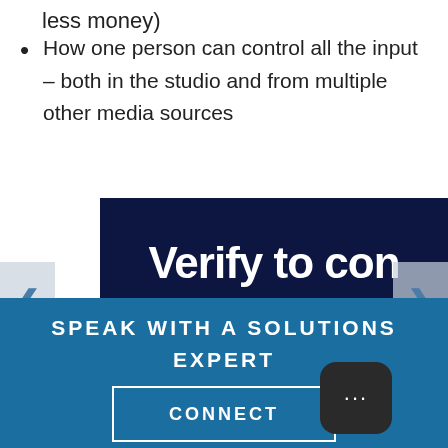less money)
How one person can control all the input – both in the studio and from multiple other media sources
[Figure (screenshot): Dark navy banner partially visible showing text 'Verify to con' in large bold white font, with left and right navigation arrows on a website carousel]
SPEAK WITH A SOLUTIONS EXPERT
CONNECT